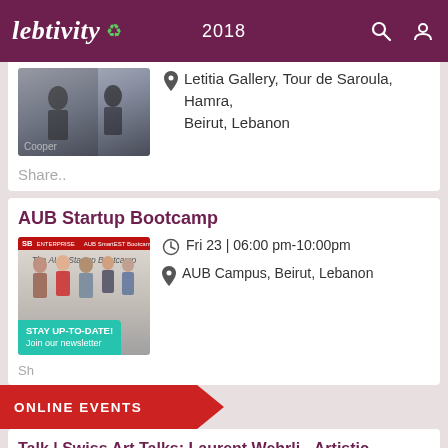Lebtivity 2018
Letitia Gallery, Tour de Saroula, Hamra, Beirut, Lebanon
Share..
AUB Startup Bootcamp
Fri 23 | 06:00 pm-10:00pm
AUB Campus, Beirut, Lebanon
STAY UP-TO-DATE!
Join our newsletter
ONLINE EVENTS
Talk | Swiss Art Talks: Laurent Wehrli - Artistic initiatives and...
Thu 22 | 07:00 pm-08:30pm
Sursock Museum, Greek Orthodox